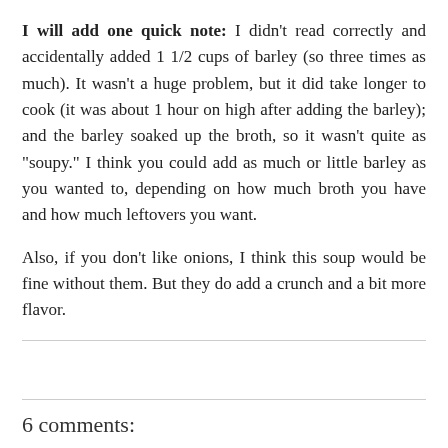I will add one quick note: I didn't read correctly and accidentally added 1 1/2 cups of barley (so three times as much). It wasn't a huge problem, but it did take longer to cook (it was about 1 hour on high after adding the barley); and the barley soaked up the broth, so it wasn't quite as "soupy." I think you could add as much or little barley as you wanted to, depending on how much broth you have and how much leftovers you want.
Also, if you don't like onions, I think this soup would be fine without them. But they do add a crunch and a bit more flavor.
6 comments:
Allison February 17, 2013 at 10:14 PM
Yum! Looks and sounds delicious!